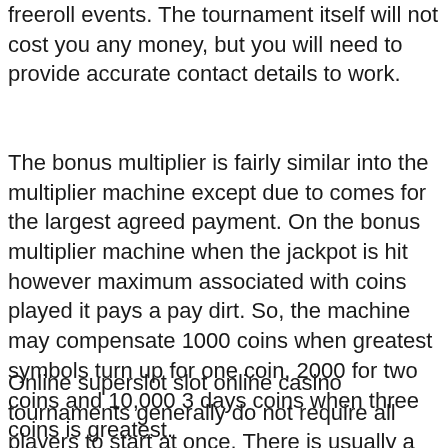freeroll events. The tournament itself will not cost you any money, but you will need to provide accurate contact details to work.
The bonus multiplier is fairly similar into the multiplier machine except due to comes for the largest agreed payment. On the bonus multiplier machine when the jackpot is hit however maximum associated with coins played it pays a pay dirt. So, the machine may compensate 1000 coins when greatest symbols turn up for one coin, 2000 for two coins and 10,000 3 days coins when three coins is greatest.
Online superslot slot online casino tournaments generally do not require all players to start at once. There is usually a set fee of time that you have got to play. This time starts when you decide. The